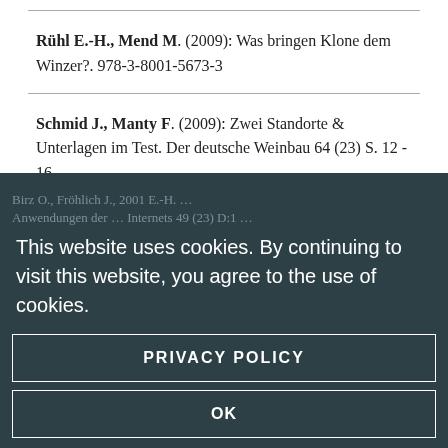Rühl E.-H., Mend M. (2009): Was bringen Klone dem Winzer?. 978-3-8001-5673-3
Schmid J., Manty F. (2009): Zwei Standorte & Unterlagen im Test. Der deutsche Weinbau 64 (23) S. 12 - 16.
This website uses cookies. By continuing to visit this website, you agree to the use of cookies.
PRIVACY POLICY
OK